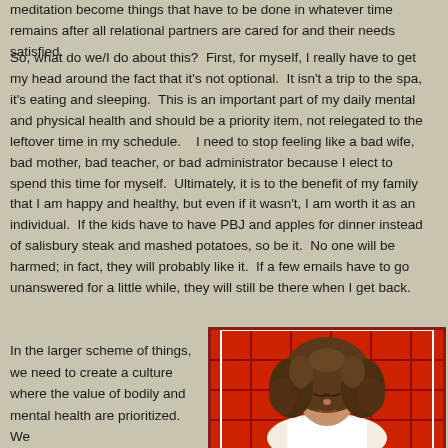meditation become things that have to be done in whatever time remains after all relational partners are cared for and their needs satisfied.
So, what do we/I do about this?  First, for myself, I really have to get my head around the fact that it's not optional.  It isn't a trip to the spa, it's eating and sleeping.  This is an important part of my daily mental and physical health and should be a priority item, not relegated to the leftover time in my schedule.   I need to stop feeling like a bad wife, bad mother, bad teacher, or bad administrator because I elect to spend this time for myself.  Ultimately, it is to the benefit of my family that I am happy and healthy, but even if it wasn't, I am worth it as an individual.  If the kids have to have PBJ and apples for dinner instead of salisbury steak and mashed potatoes, so be it.  No one will be harmed; in fact, they will probably like it.  If a few emails have to go unanswered for a little while, they will still be there when I get back.
In the larger scheme of things, we need to create a culture where the value of bodily and mental health are prioritized.  We
[Figure (photo): A young girl with curly hair, eyes closed as if meditating, sitting in front of a red grid background]